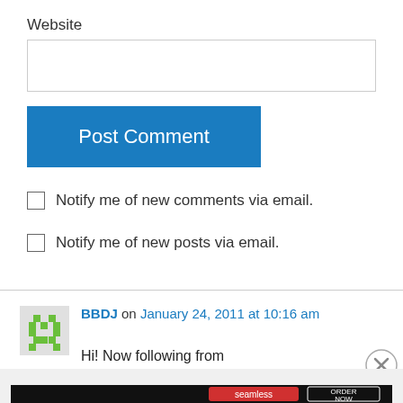Website
[Figure (screenshot): Empty text input field for website URL]
[Figure (screenshot): Blue 'Post Comment' button]
Notify me of new comments via email.
Notify me of new posts via email.
BBDJ on January 24, 2011 at 10:16 am
Hi! Now following from
Advertisements